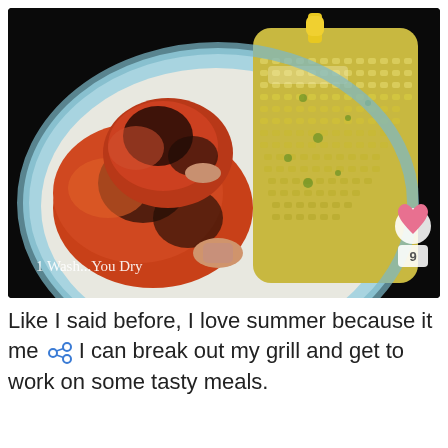[Figure (photo): A plate of grilled chicken drumsticks and a corn on the cob on a blue-rimmed plate with a yellow corn holder. The watermark '1 Wash...You Dry' appears on the image. A heart icon and share count of 9 are overlaid on the bottom right.]
Like I said before, I love summer because it me [share icon] I can break out my grill and get to work on some tasty meals.